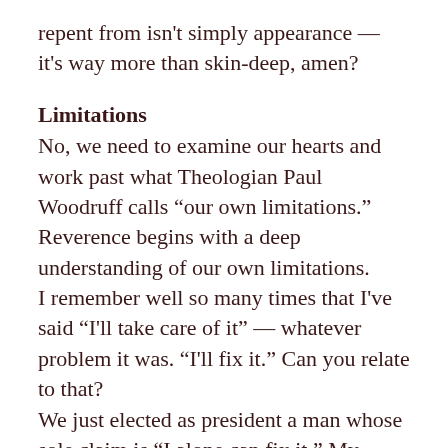repent from isn't simply appearance — it's way more than skin-deep, amen?
Limitations
No, we need to examine our hearts and work past what Theologian Paul Woodruff calls “our own limitations.” Reverence begins with a deep understanding of our own limitations.
I remember well so many times that I've said “I'll take care of it” — whatever problem it was. “I'll fix it.” Can you relate to that?
We just elected as president a man whose sole claim is “I alone can fix it.” My intention is not to get political here, because I think we can all relate